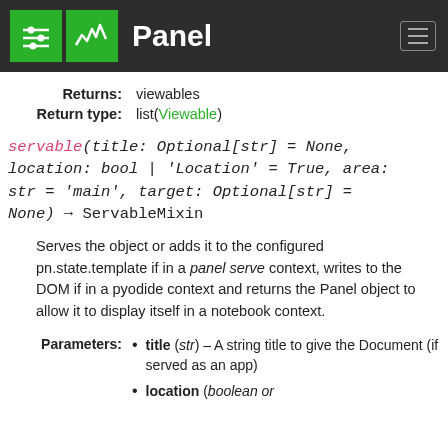Panel
Returns: viewables
Return type: list(Viewable)
servable(title: Optional[str] = None, location: bool | 'Location' = True, area: str = 'main', target: Optional[str] = None) → ServableMixin
Serves the object or adds it to the configured pn.state.template if in a panel serve context, writes to the DOM if in a pyodide context and returns the Panel object to allow it to display itself in a notebook context.
title (str) – A string title to give the Document (if served as an app)
location (boolean or